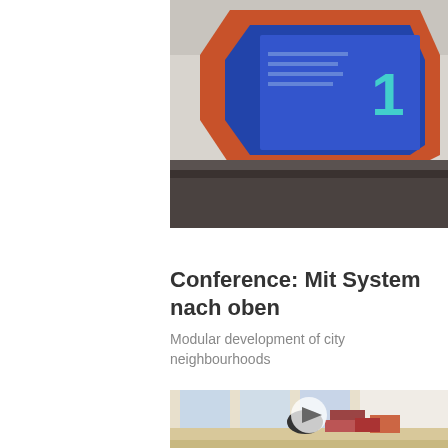[Figure (photo): Photo of a blue framed sign or poster with the number '1' visible, displayed on a surface with orange/red framing elements against a wall.]
Conference: Mit System nach oben
Modular development of city neighbourhoods
[Figure (photo): Photo of an empty interior room with large windows, wooden floor, and cardboard boxes/moving items stacked against a wall, with a play button overlay in the center indicating a video.]